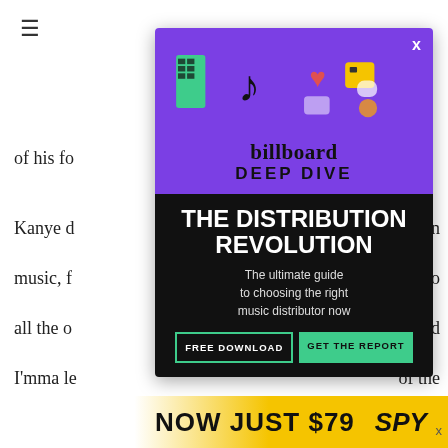of his fo
Kanye d ... e in music, f ... say to all the o ... you, and I'mma le ... of the greatest
Only tim ... kely, the Gra ... e again. P
[Figure (infographic): Billboard Deep Dive advertisement overlay with purple top section showing TikTok and social media icons illustration, 'billboard DEEP DIVE' branding, black bottom section with 'THE DISTRIBUTION REVOLUTION' headline, subtitle 'The ultimate guide to choosing the right music distributor now', and two buttons: 'FREE DOWNLOAD' and 'GET THE REPORT']
NOW JUST $79
SPY